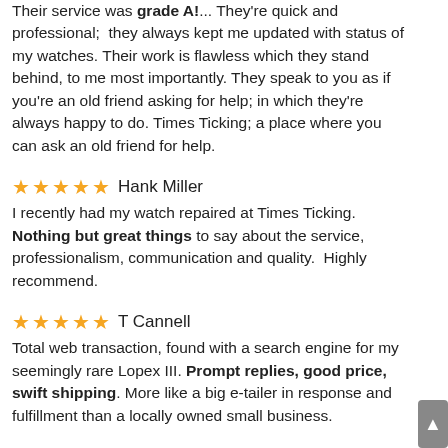Their service was grade A!... They're quick and professional; they always kept me updated with status of my watches. Their work is flawless which they stand behind, to me most importantly. They speak to you as if you're an old friend asking for help; in which they're always happy to do. Times Ticking; a place where you can ask an old friend for help.
★★★★★ Hank Miller
I recently had my watch repaired at Times Ticking. Nothing but great things to say about the service, professionalism, communication and quality. Highly recommend.
★★★★★ T Cannell
Total web transaction, found with a search engine for my seemingly rare Lopex III. Prompt replies, good price, swift shipping. More like a big e-tailer in response and fulfillment than a locally owned small business.
★★★★★ Doug Hammer
I had several issues with my Bulova mechanical watch, including running too fast. They not only fixed it, but it is better than when I bought it new. Amazing! And the